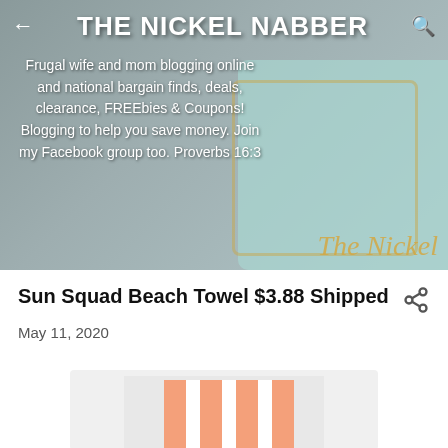THE NICKEL NABBER
Frugal wife and mom blogging online and national bargain finds, deals, clearance, FREEbies & Coupons! Blogging to help you save money. Join my Facebook group too. Proverbs 16:3
Sun Squad Beach Towel $3.88 Shipped
May 11, 2020
[Figure (photo): A folded coral/peach and white striped beach towel on a light gray background]